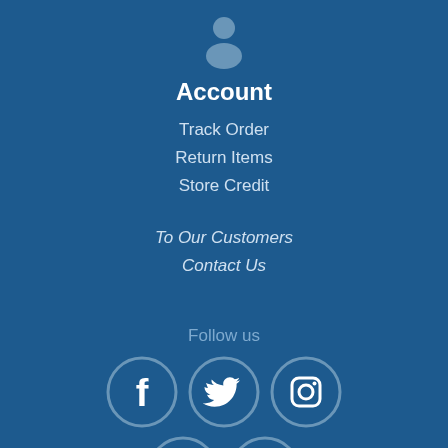[Figure (illustration): User/account icon - a person silhouette in muted blue-gray color centered at the top]
Account
Track Order
Return Items
Store Credit
To Our Customers
Contact Us
Follow us
[Figure (illustration): Social media icons row 1: Facebook, Twitter, Instagram - white icons in circular outlines with muted blue-gray color]
[Figure (illustration): Social media icons row 2: YouTube, LinkedIn - partially visible at bottom of page]